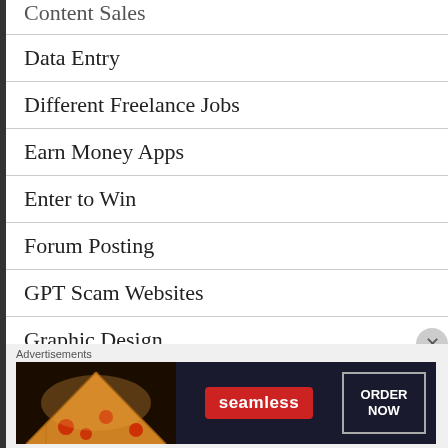Content Sales
Data Entry
Different Freelance Jobs
Earn Money Apps
Enter to Win
Forum Posting
GPT Scam Websites
Graphic Design
[Figure (screenshot): Seamless food delivery advertisement banner with pizza image, Seamless logo in red, and ORDER NOW button]